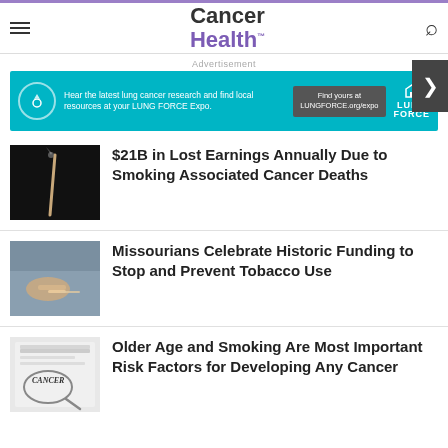Cancer Health
[Figure (screenshot): Advertisement banner for LUNG FORCE Expo with teal background]
$21B in Lost Earnings Annually Due to Smoking Associated Cancer Deaths
Missourians Celebrate Historic Funding to Stop and Prevent Tobacco Use
Older Age and Smoking Are Most Important Risk Factors for Developing Any Cancer